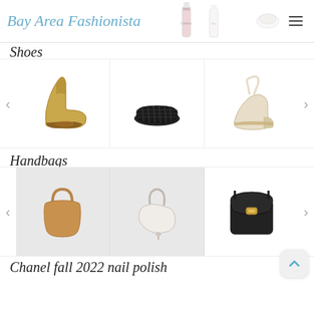Bay Area Fashionista
Shoes
[Figure (photo): Shoes carousel with three items: gold metallic ankle boot, black woven slide sandal, beige espadrille wedge with ankle tie. Left and right navigation arrows visible.]
Handbags
[Figure (photo): Handbags carousel with three items: tan/cognac leather shoulder bag, white crescent mini bag, black structured crossbody with gold hardware. Left and right navigation arrows visible.]
Chanel fall 2022 nail polish